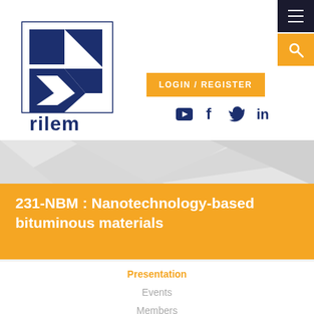[Figure (logo): RILEM organization logo — square geometric design in navy blue with white shapes and 'rilem' text below]
LOGIN / REGISTER
[Figure (infographic): Social media icons: YouTube, Facebook, Twitter, LinkedIn in navy blue]
[Figure (illustration): Gray geometric triangular/diamond pattern banner background]
231-NBM : Nanotechnology-based bituminous materials
Presentation
Events
Members